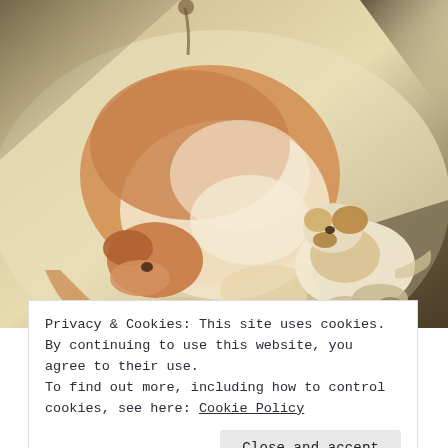[Figure (photo): Photo of two dogs lying on a light-colored floor, viewed from above. A larger golden-brown and white dog is curled with its head tucked down, and a smaller white dog with brown markings is resting nearby.]
Privacy & Cookies: This site uses cookies. By continuing to use this website, you agree to their use.
To find out more, including how to control cookies, see here: Cookie Policy
Close and accept
ownership can also cause marital discord. In one poll,